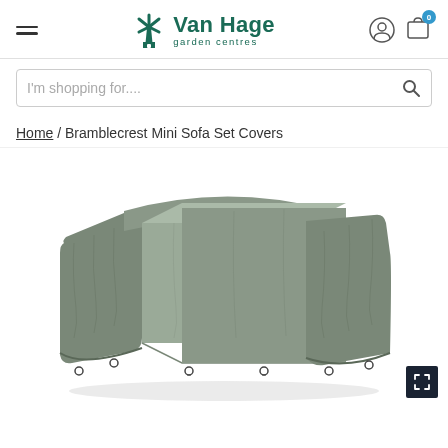Van Hage garden centres
I'm shopping for....
Home / Bramblecrest Mini Sofa Set Covers
[Figure (photo): Grey protective cover set covering a mini corner sofa set with a central table section, shown on a white background. The covers are dark grey/khaki with tie-down clips at the base.]